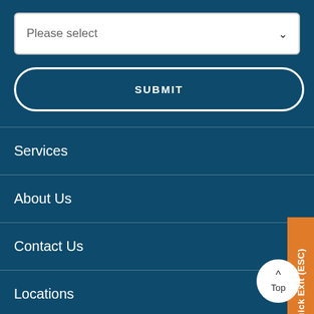Please select
SUBMIT
Services
About Us
Contact Us
Locations
News & Events
Quick Exit (ESC)
Top